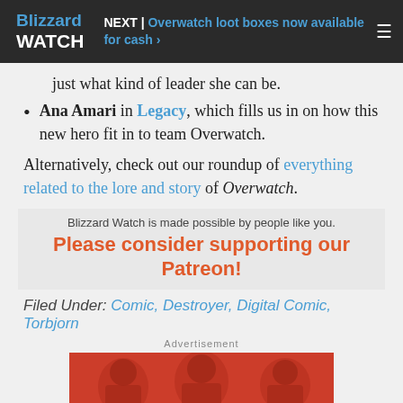NEXT | Overwatch loot boxes now available for cash ›
just what kind of leader she can be.
Ana Amari in Legacy, which fills us in on how this new hero fit in to team Overwatch.
Alternatively, check out our roundup of everything related to the lore and story of Overwatch.
Blizzard Watch is made possible by people like you. Please consider supporting our Patreon!
Filed Under: Comic, Destroyer, Digital Comic, Torbjorn
Advertisement
[Figure (photo): Advertisement image with red tinted photo of people laughing, with a small robot/device icon in the center]